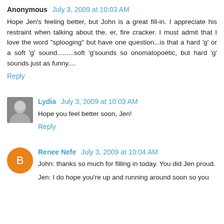Anonymous July 3, 2009 at 10:03 AM
Hope Jen's feeling better, but John is a great fill-in. I appreciate his restraint when talking about the, er, fire cracker. I must admit that I love the word "splooging" but have one question...is that a hard 'g' or a soft 'g' sound.........soft 'g'sounds so onomatopoetic, but hard 'g' sounds just as funny....
Reply
Lydia July 3, 2009 at 10:03 AM
Hope you feel better soon, Jen!
Reply
Renee Nefe July 3, 2009 at 10:04 AM
John: thanks so much for filling in today. You did Jen proud.
Jen: I do hope you're up and running around soon so you